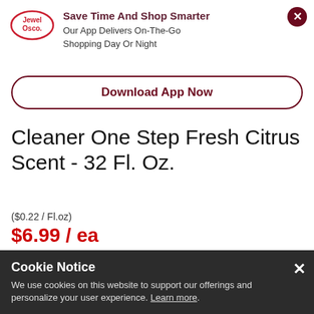[Figure (logo): Jewel-Osco oval logo in red with white text]
Save Time And Shop Smarter
Our App Delivers On-The-Go Shopping Day Or Night
Download App Now
Cleaner One Step Fresh Citrus Scent - 32 Fl. Oz.
($0.22 / Fl.oz)
$6.99 / ea
Shopping Options for 60657 Change ZIP
Cookie Notice
We use cookies on this website to support our offerings and personalize your user experience. Learn more.